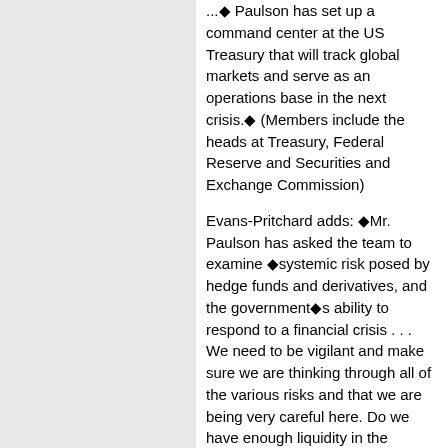...Paulson has set up a command center at the US Treasury that will track global markets and serve as an operations base in the next crisis.◆ (Members include the heads at Treasury, Federal Reserve and Securities and Exchange Commission)
Evans-Pritchard adds: ◆Mr. Paulson has asked the team to examine ◆systemic risk posed by hedge funds and derivatives, and the government◆s ability to respond to a financial crisis . . . We need to be vigilant and make sure we are thinking through all of the various risks and that we are being very careful here. Do we have enough liquidity in the system?'◆◆
And, finally, Evans-Pritchard asks, "[Do] Mr. Paulson and Mr. Cox [SEC] know something that we do not: whether other hedge funds are in the same sinking boat as Amaranth Advisors and Vega Management, keel-hauled by bets on natural gas and bonds? Or whether currency traders with record short positions on the